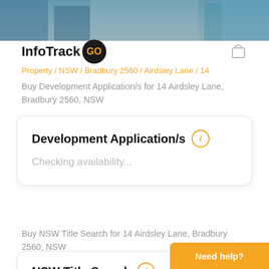[Figure (photo): Background photo banner showing a street or building scene in muted blues and greys]
InfoTrack GO
Property / NSW / Bradbury 2560 / Airdsley Lane / 14
Buy Development Application/s for 14 Airdsley Lane, Bradbury 2560, NSW
Development Application/s
Checking availability...
Buy NSW Title Search for 14 Airdsley Lane, Bradbury 2560, NSW
NSW Title Search
Checking availability...